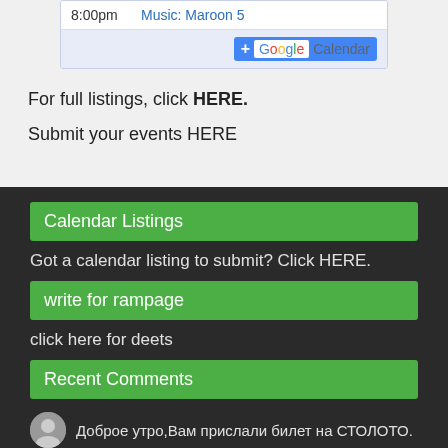[Figure (screenshot): Calendar widget showing 8:00pm Music: Maroon 5 event with Google Calendar button]
For full listings, click HERE.
Submit your events HERE
Calendar Listings
Got a calendar listing to submit? Click HERE.
write for rampage
click here for deets
Recent Comments
Доброе утро,Вам прислали билет на СТОЛОТО.